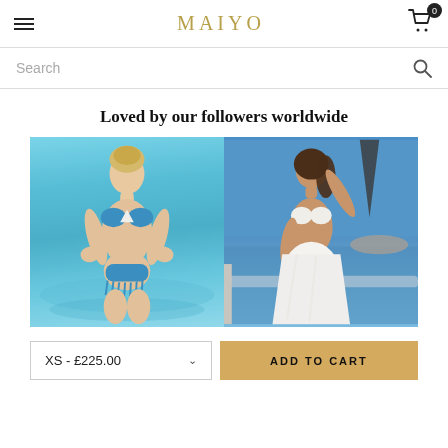MAIYO
Search
Loved by our followers worldwide
[Figure (photo): Two fashion photos side by side: left shows a blonde woman in a blue bikini standing in a pool; right shows a brunette woman in a white bikini with white wrap skirt on a yacht deck]
XS - £225.00
ADD TO CART